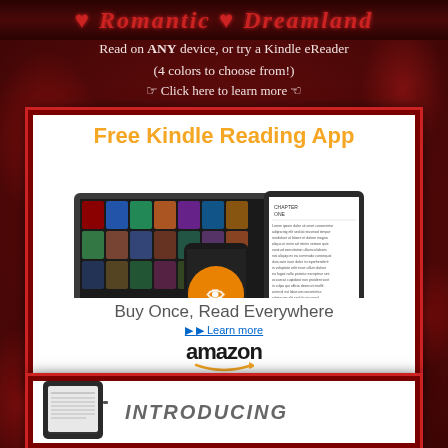♥ Romantic ♥ Dreamland
Read on ANY device, or try a Kindle eReader
(4 colors to choose from!)
☞ Click here to learn more ☜
[Figure (infographic): Amazon Kindle Free Reading App advertisement showing laptop, smartphone, and tablet devices with text: Free Kindle Reading App, Buy Once, Read Everywhere, Learn more, amazon]
[Figure (infographic): Bottom card showing Kindle Fire tablet device with text: INTRODUCING]